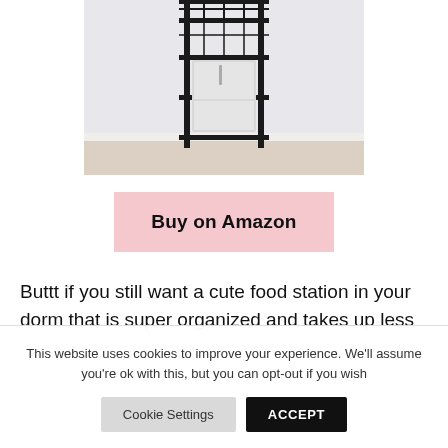[Figure (photo): A tall black metal wire shelving rack with a small white mini-fridge on one of the shelves, placed against a light grey wall on a wood-look floor.]
Buy on Amazon
Buttt if you still want a cute food station in your dorm that is super organized and takes up less
This website uses cookies to improve your experience. We'll assume you're ok with this, but you can opt-out if you wish
Cookie Settings
ACCEPT